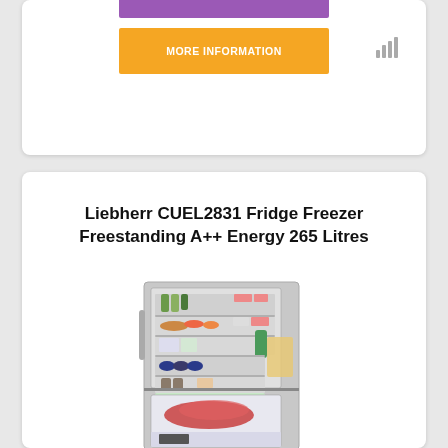[Figure (other): Orange 'MORE INFORMATION' button with purple bar above it, and signal/bars icon to the right]
Liebherr CUEL2831 Fridge Freezer Freestanding A++ Energy 265 Litres
[Figure (photo): Photo of Liebherr CUEL2831 fridge freezer open, showing shelves with food items including bottles, vegetables, and packaged goods, with a separate freezer compartment below containing red meat/lobster]